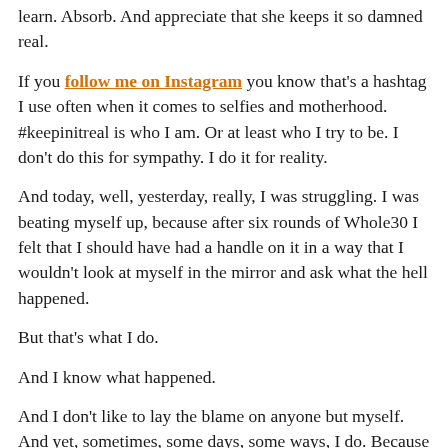learn. Absorb. And appreciate that she keeps it so damned real.
If you follow me on Instagram you know that's a hashtag I use often when it comes to selfies and motherhood. #keepinitreal is who I am. Or at least who I try to be. I don't do this for sympathy. I do it for reality.
And today, well, yesterday, really, I was struggling. I was beating myself up, because after six rounds of Whole30 I felt that I should have had a handle on it in a way that I wouldn't look at myself in the mirror and ask what the hell happened.
But that's what I do.
And I know what happened.
And I don't like to lay the blame on anyone but myself. And yet, sometimes, some days, some ways, I do. Because I didn't ask to fall off this positive path. I didn't ask to find myself knocked down several pegs. I didn't ask for this.
And then someone...